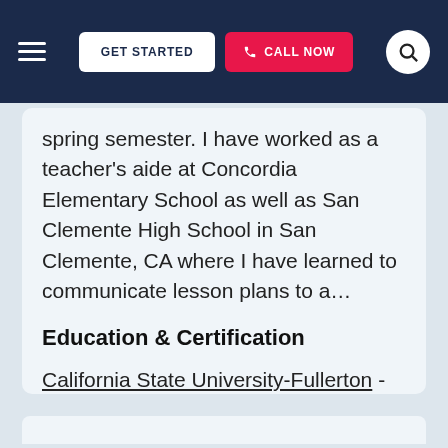GET STARTED | CALL NOW
spring semester. I have worked as a teacher's aide at Concordia Elementary School as well as San Clemente High School in San Clemente, CA where I have learned to communicate lesson plans to a…
Education & Certification
California State University-Fullerton - Bachelor in Arts, Psychology
View this San Diego Middle School Math Tutor ▶